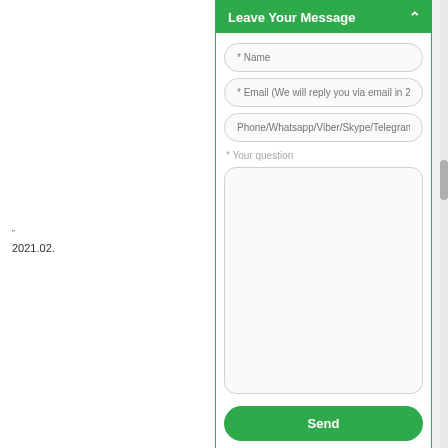2021.02.
Leave Your Message
[Figure (screenshot): A contact form widget with green header 'Leave Your Message', fields for Name, Email, Phone/Whatsapp/Viber/Skype/Telegram/Messenger, Your question textarea, and a green Send button.]